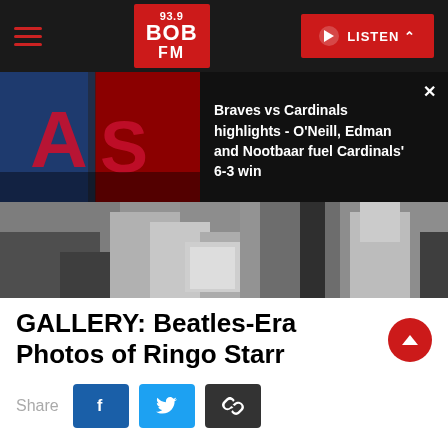93.9 BOB FM — LISTEN
[Figure (screenshot): News banner showing Braves vs Cardinals baseball team logos with headline about game highlights]
Braves vs Cardinals highlights - O'Neill, Edman and Nootbaar fuel Cardinals' 6-3 win
[Figure (photo): Black and white photo showing people, partial torsos and bags, Beatles-era style]
GALLERY: Beatles-Era Photos of Ringo Starr
Share
English pop group The Beatles waving people as they arrive at London airport, England, Left